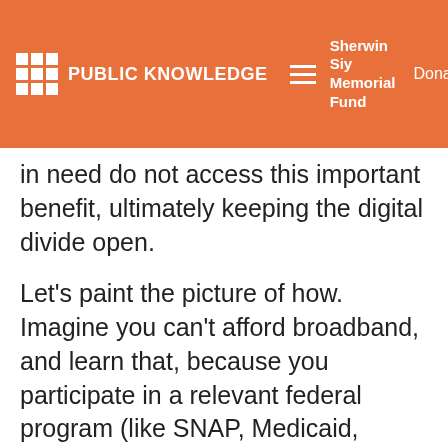PUBLIC KNOWLEDGE | Sherwin Siy Memorial Fund | Donate
in need do not access this important benefit, ultimately keeping the digital divide open.
Let's paint the picture of how. Imagine you can't afford broadband, and learn that, because you participate in a relevant federal program (like SNAP, Medicaid, free/reduced school meals, etc.), you are eligible for the EBB. Huzzah! To apply, you are told to use the Lifeline National Verifier. The Verifier is intended to be a one-stop-shop to verify consumer